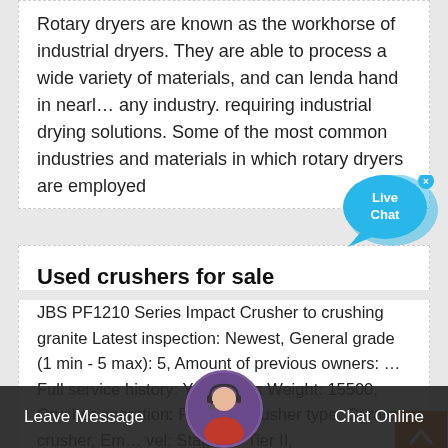Rotary dryers are known as the workhorse of industrial dryers. They are able to process a wide variety of materials, and can lenda hand in nearl... any industry. requiring industrial drying solutions. Some of the most common industries and materials in which rotary dryers are employed
Used crushers for sale
JBS PF1210 Series Impact Crusher to crushing granite Latest inspection: Newest, General grade (1 min - 5 max): 5, Amount of previous owners: ... Full service history: Yes, Gross Weight: 15500, Crusher operation: Primary, Crusher type: Gyratory crusher, Em... vel: Stage II / Tier II,
Leave Message
Chat Online